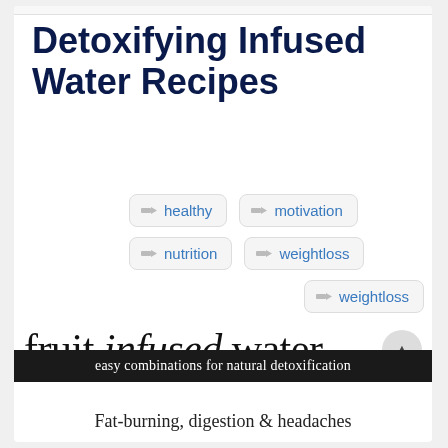Detoxifying Infused Water Recipes
healthy
motivation
nutrition
weightloss
weightloss
[Figure (illustration): fruit infused water text logo with italic 'infused' in script style]
easy combinations for natural detoxification
Fat-burning, digestion & headaches